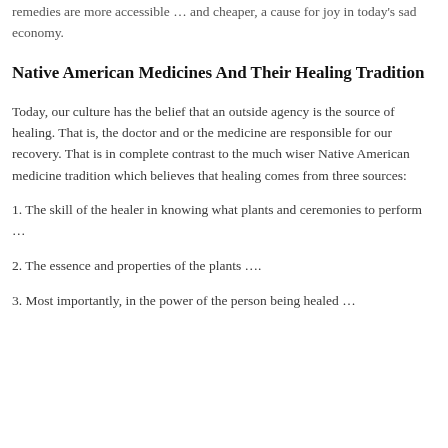remedies are more accessible … and cheaper, a cause for joy in today's sad economy.
Native American Medicines And Their Healing Tradition
Today, our culture has the belief that an outside agency is the source of healing. That is, the doctor and or the medicine are responsible for our recovery. That is in complete contrast to the much wiser Native American medicine tradition which believes that healing comes from three sources:
1. The skill of the healer in knowing what plants and ceremonies to perform …
2. The essence and properties of the plants ….
3. Most importantly, in the power of the person being healed …